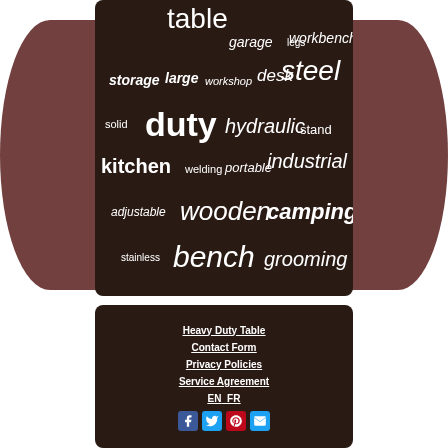[Figure (infographic): Word cloud on dark background with terms related to tables: table, garage, legs, workbench, storage, large, workshop, desk, steel, solid, duty, hydraulic, stand, kitchen, welding, portable, industrial, adjustable, wooden, camping, stainless, bench, grooming]
Heavy Duty Table
Contact Form
Privacy Policies
Service Agreement
EN  FR